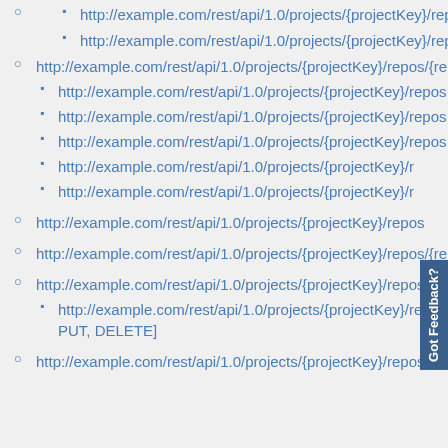http://example.com/rest/api/1.0/projects/{projectKey}/repos/…
http://example.com/rest/api/1.0/projects/{projectKey}/repos/…
http://example.com/rest/api/1.0/projects/{projectKey}/repos/{rep…
http://example.com/rest/api/1.0/projects/{projectKey}/repos/…
http://example.com/rest/api/1.0/projects/{projectKey}/repos/…
http://example.com/rest/api/1.0/projects/{projectKey}/repos/…
http://example.com/rest/api/1.0/projects/{projectKey}/r…
http://example.com/rest/api/1.0/projects/{projectKey}/r…
http://example.com/rest/api/1.0/projects/{projectKey}/repos…
http://example.com/rest/api/1.0/projects/{projectKey}/repos/{rep…
http://example.com/rest/api/1.0/projects/{projectKey}/repos/{rep…
http://example.com/rest/api/1.0/projects/{projectKey}/repos/… PUT, DELETE]
http://example.com/rest/api/1.0/projects/{projectKey}/repos/{rep…